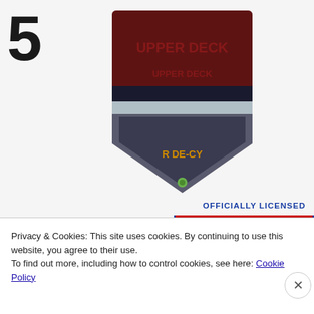[Figure (photo): Number 5 on left side, and a baseball home plate shaped badge/pin with textured reddish-brown top and silver/metallic bottom, showing partial text on it, on a light gray background]
[Figure (photo): Bottom strip showing partial MLB officially licensed logos - left side shows partial 'CIAL LICENSEE' with MLB silhouette logo in blue/red, right side shows 'OFFICIALLY LICENSED MAJOR LEAGUE BASEBALL PLAYERS MLB' logo in blue/red/white]
Privacy & Cookies: This site uses cookies. By continuing to use this website, you agree to their use.
To find out more, including how to control cookies, see here: Cookie Policy